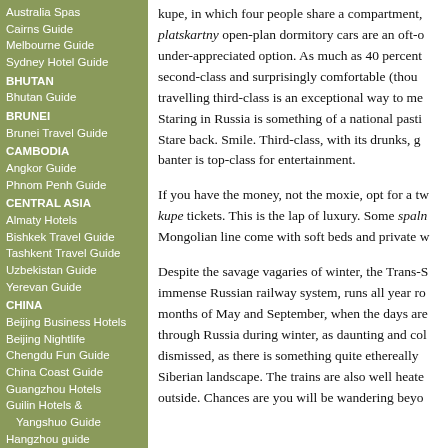Australia Spas
Cairns Guide
Melbourne Guide
Sydney Hotel Guide
BHUTAN
Bhutan Guide
BRUNEI
Brunei Travel Guide
CAMBODIA
Angkor Guide
Phnom Penh Guide
CENTRAL ASIA
Almaty Hotels
Bishkek Travel Guide
Tashkent Travel Guide
Uzbekistan Guide
Yerevan Guide
CHINA
Beijing Business Hotels
Beijing Nightlife
Chengdu Fun Guide
China Coast Guide
Guangzhou Hotels
Guilin Hotels & Yangshuo Guide
Hangzhou guide
Inner Monogolia Guide
Qingdao Guide
Sanya Resorts Review
Shanghai Business Hotels
kupe, in which four people share a compartment, platskartny open-plan dormitory cars are an oft-over under-appreciated option. As much as 40 percent second-class and surprisingly comfortable (though travelling third-class is an exceptional way to mee Staring in Russia is something of a national pasti Stare back. Smile. Third-class, with its drunks, gr banter is top-class for entertainment.
If you have the money, not the moxie, opt for a tw kupe tickets. This is the lap of luxury. Some spaln Mongolian line come with soft beds and private w
Despite the savage vagaries of winter, the Trans-S immense Russian railway system, runs all year ro months of May and September, when the days are through Russia during winter, as daunting and col dismissed, as there is something quite ethereally b Siberian landscape. The trains are also well heate outside. Chances are you will be wandering beyor